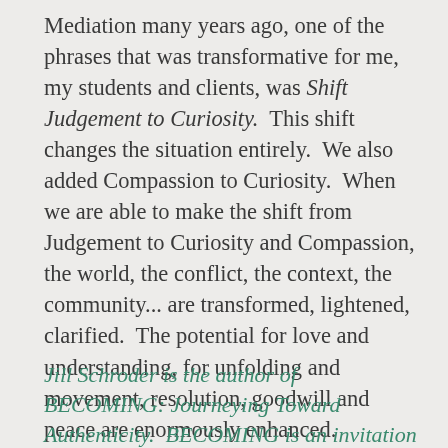Mediation many years ago, one of the phrases that was transformative for me, my students and clients, was Shift Judgement to Curiosity.  This shift changes the situation entirely.  We also added Compassion to Curiosity.  When we are able to make the shift from Judgement to Curiosity and Compassion, the world, the conflict, the context, the community... are transformed, lightened, clarified.  The potential for love and understanding, for unfolding and movement, resolution, goodwill and peace are enormously enhanced.

And our inner environment is not being poisoned!
Jill Schroder is the author of BECOMING: Journeying Toward Authenticity.  BECOMING is an invitation for self-reflection, and to mine our memorable moments for insights, meaning, and growth.  Check the website for a